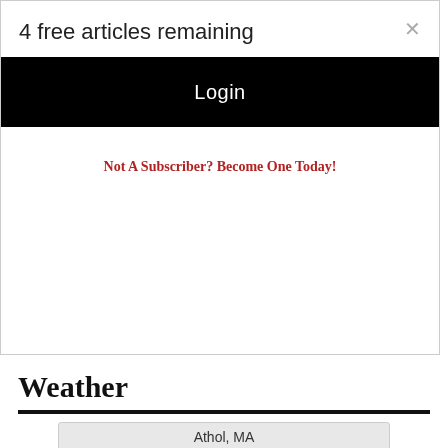4 free articles remaining
Login
Not A Subscriber? Become One Today!
Weather
Athol, MA